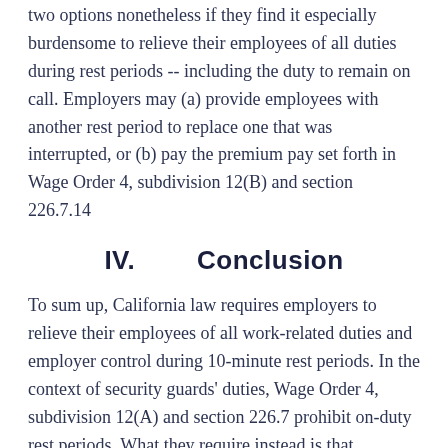two options nonetheless if they find it especially burdensome to relieve their employees of all duties during rest periods -- including the duty to remain on call. Employers may (a) provide employees with another rest period to replace one that was interrupted, or (b) pay the premium pay set forth in Wage Order 4, subdivision 12(B) and section 226.7.14
IV.        Conclusion
To sum up, California law requires employers to relieve their employees of all work-related duties and employer control during 10-minute rest periods. In the context of security guards' duties, Wage Order 4, subdivision 12(A) and section 226.7 prohibit on-duty rest periods. What they require instead is that employers relinquish any control over how employees